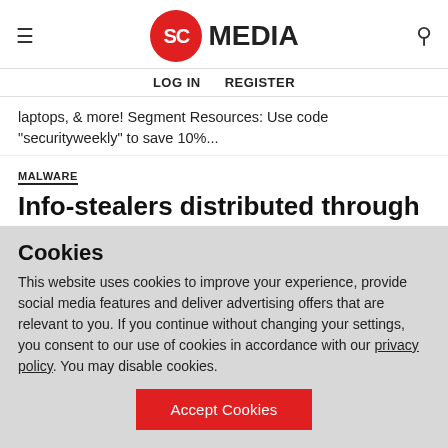SC MEDIA | LOG IN  REGISTER
laptops, & more! Segment Resources: Use code "securityweekly" to save 10%...
MALWARE
Info-stealers distributed through phony 'Cthulhu World' project
SC Staff  August 29, 2022
Info-stealing malware AsyncRAT, Raccoon Stealer, and RedLine, are being
Cookies
This website uses cookies to improve your experience, provide social media features and deliver advertising offers that are relevant to you. If you continue without changing your settings, you consent to our use of cookies in accordance with our privacy policy. You may disable cookies.
Accept Cookies